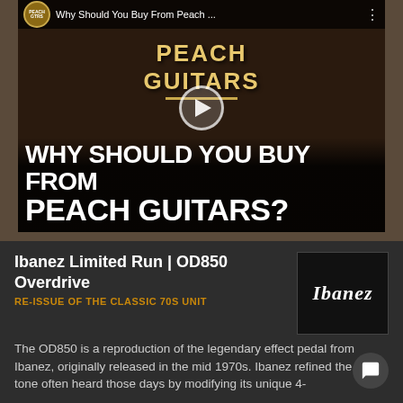[Figure (screenshot): YouTube video thumbnail for 'Why Should You Buy From Peach Guitars?' showing the Peach Guitars logo over a dark wood background with a play button and bold white text overlay reading 'WHY SHOULD YOU BUY FROM PEACH GUITARS?']
Ibanez Limited Run | OD850 Overdrive
RE-ISSUE OF THE CLASSIC 70S UNIT
The OD850 is a reproduction of the legendary effect pedal from Ibanez, originally released in the mid 1970s. Ibanez refined the fuzz tone often heard those days by modifying its unique 4-